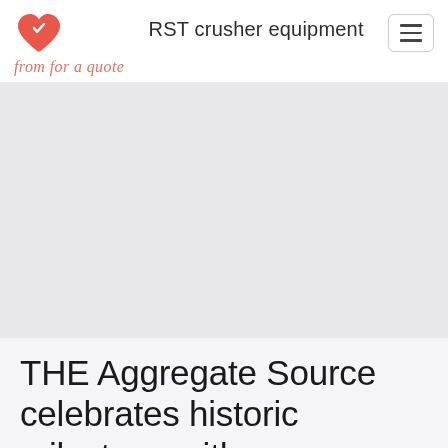RST crusher equipment
[Figure (logo): Red heart logo icon]
from for a quote
[Figure (photo): Large hero image area (light gray placeholder)]
THE Aggregate Source celebrates historic milestone with